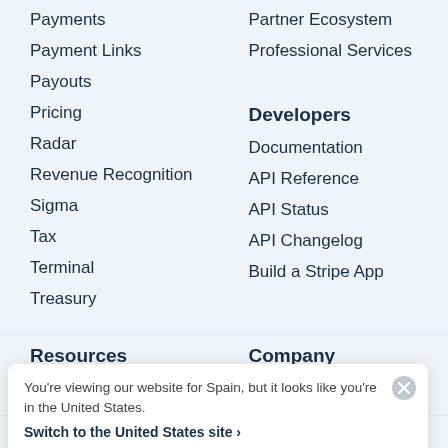Payments
Payment Links
Payouts
Pricing
Radar
Revenue Recognition
Sigma
Tax
Terminal
Treasury
Partner Ecosystem
Professional Services
Developers
Documentation
API Reference
API Status
API Changelog
Build a Stripe App
Resources
Company
You're viewing our website for Spain, but it looks like you're in the United States.
Switch to the United States site ›
Customer Stories
Become a Partner